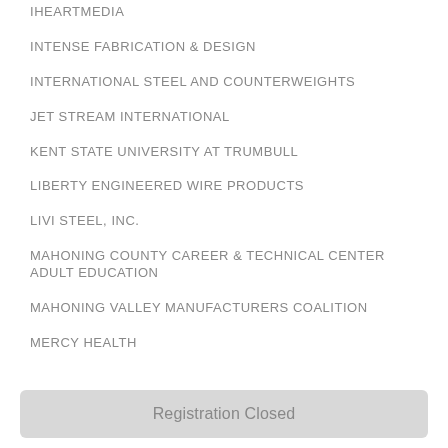IHEARTMEDIA
INTENSE FABRICATION & DESIGN
INTERNATIONAL STEEL AND COUNTERWEIGHTS
JET STREAM INTERNATIONAL
KENT STATE UNIVERSITY AT TRUMBULL
LIBERTY ENGINEERED WIRE PRODUCTS
LIVI STEEL, INC.
MAHONING COUNTY CAREER & TECHNICAL CENTER ADULT EDUCATION
MAHONING VALLEY MANUFACTURERS COALITION
MERCY HEALTH
Registration Closed